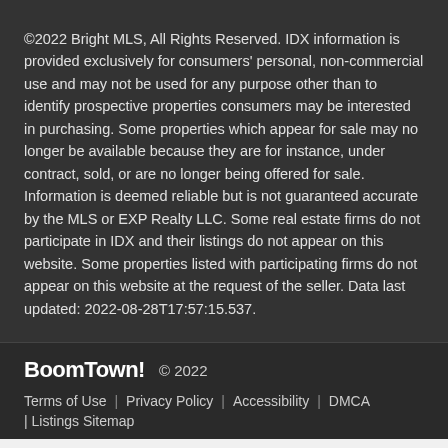©2022 Bright MLS, All Rights Reserved. IDX information is provided exclusively for consumers' personal, non-commercial use and may not be used for any purpose other than to identify prospective properties consumers may be interested in purchasing. Some properties which appear for sale may no longer be available because they are for instance, under contract, sold, or are no longer being offered for sale. Information is deemed reliable but is not guaranteed accurate by the MLS or EXP Realty LLC. Some real estate firms do not participate in IDX and their listings do not appear on this website. Some properties listed with participating firms do not appear on this website at the request of the seller. Data last updated: 2022-08-28T17:57:15.537.
[Figure (logo): BoomTown! logo in white bold text]
© 2022
Terms of Use | Privacy Policy | Accessibility | DMCA
| Listings Sitemap
Take a Tour
Ask A Q...